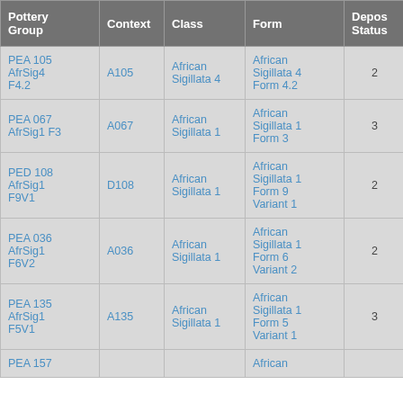| Pottery Group | Context | Class | Form | Depos Status | R Ct | R EV |
| --- | --- | --- | --- | --- | --- | --- |
| PEA 105 AfrSig4 F4.2 | A105 | African Sigillata 4 | African Sigillata 4 Form 4.2 | 2 | 1 | 1 |
| PEA 067 AfrSig1 F3 | A067 | African Sigillata 1 | African Sigillata 1 Form 3 | 3 | 1 | 1 |
| PED 108 AfrSig1 F9V1 | D108 | African Sigillata 1 | African Sigillata 1 Form 9 Variant 1 | 2 | 1 | 1 |
| PEA 036 AfrSig1 F6V2 | A036 | African Sigillata 1 | African Sigillata 1 Form 6 Variant 2 | 2 | 2 | 2 |
| PEA 135 AfrSig1 F5V1 | A135 | African Sigillata 1 | African Sigillata 1 Form 5 Variant 1 | 3 | 1 | 1 |
| PEA 157 |  |  | African |  |  |  |